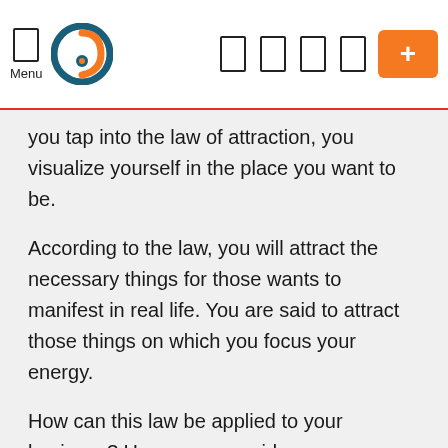Menu [logo] [nav icons] [+]
you tap into the law of attraction, you visualize yourself in the place you want to be.
According to the law, you will attract the necessary things for those wants to manifest in real life. You are said to attract those things on which you focus your energy.
How can this law be applied to your business? Here are some ideas.
What Do You Want?
Determining just what it is that you want is the basic beginning of applying the law of attraction...